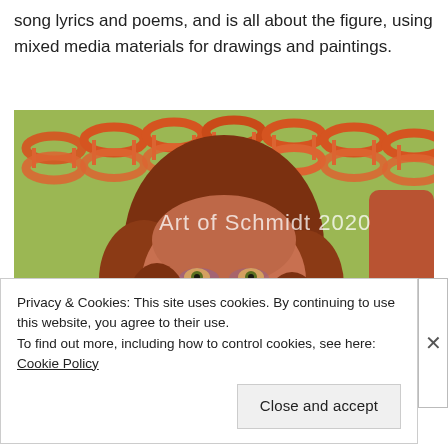song lyrics and poems, and is all about the figure, using mixed media materials for drawings and paintings.
[Figure (illustration): Mixed media painting of a woman's face with reddish-brown hair, painted in expressive style with DNA double helix patterns visible in a green/yellow background. Watermark text 'Art of Schmidt 2020' overlaid in white.]
Privacy & Cookies: This site uses cookies. By continuing to use this website, you agree to their use.
To find out more, including how to control cookies, see here: Cookie Policy
Close and accept